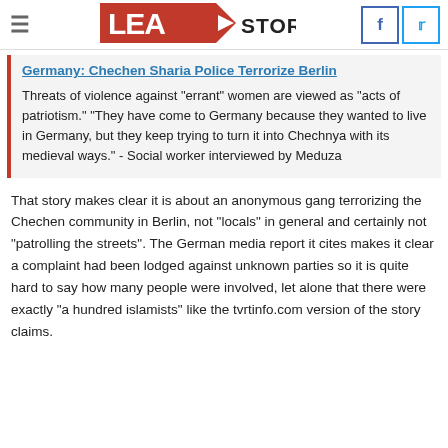Lead Stories
Germany: Chechen Sharia Police Terrorize Berlin
Threats of violence against "errant" women are viewed as "acts of patriotism." "They have come to Germany because they wanted to live in Germany, but they keep trying to turn it into Chechnya with its medieval ways." - Social worker interviewed by Meduza
That story makes clear it is about an anonymous gang terrorizing the Chechen community in Berlin, not "locals" in general and certainly not "patrolling the streets". The German media report it cites makes it clear a complaint had been lodged against unknown parties so it is quite hard to say how many people were involved, let alone that there were exactly "a hundred islamists" like the tvrtinfo.com version of the story claims.